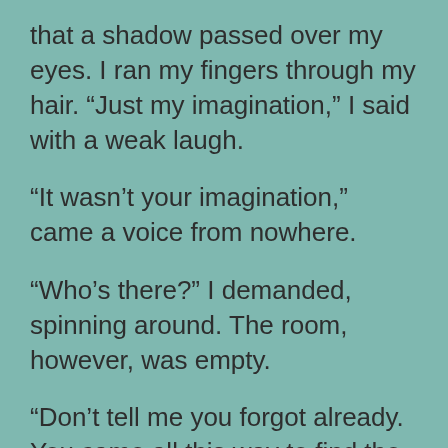that a shadow passed over my eyes. I ran my fingers through my hair. “Just my imagination,” I said with a weak laugh.
“It wasn’t your imagination,” came a voice from nowhere.
“Who’s there?” I demanded, spinning around. The room, however, was empty.
“Don’t tell me you forgot already. You came all this way to find the ancient beauty of Lilith, and you found her.”
“No,” I argued with the mysterious voice. “I